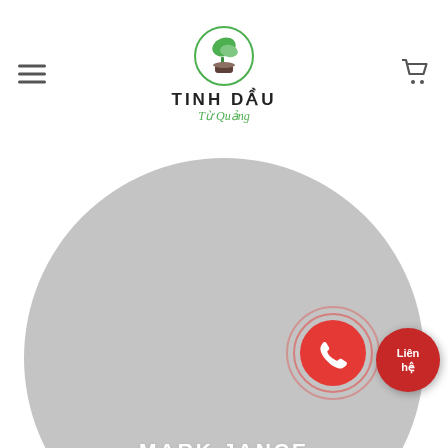TINH DẦU Từ Quảng
[Figure (photo): Large circular gray placeholder profile photo with name MARK JANCE and role CTO / DEVELOPER overlaid at the bottom, along with social media icons (Facebook, Twitter, Pinterest). A red phone button with ripple effect and a red Liên hệ button are overlaid.]
MARK JANCE
CTO / DEVELOPER